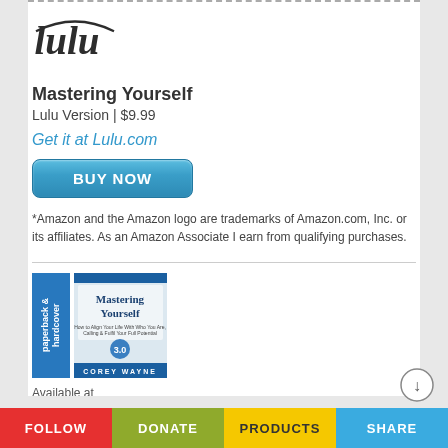[Figure (logo): Lulu logo in cursive script]
Mastering Yourself
Lulu Version | $9.99
Get it at Lulu.com
[Figure (other): BUY NOW button]
*Amazon and the Amazon logo are trademarks of Amazon.com, Inc. or its affiliates. As an Amazon Associate I earn from qualifying purchases.
[Figure (photo): Book cover of Mastering Yourself by Corey Wayne with blue sidebar showing 'paperback & hardcover']
Available at
[Figure (logo): Amazon logo]
FOLLOW   DONATE   PRODUCTS   SHARE